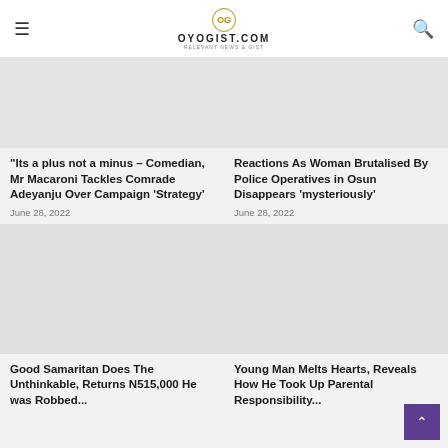OYOGIST.COM
[Figure (screenshot): Blank placeholder image for article 1]
“Its a plus not a minus – Comedian, Mr Macaroni Tackles Comrade Adeyanju Over Campaign ‘Strategy’
June 28, 2022
[Figure (screenshot): Blank placeholder image for article 2]
Reactions As Woman Brutalised By Police Operatives in Osun Disappears ‘mysteriously’
June 28, 2022
[Figure (screenshot): Blank placeholder image for article 3]
Good Samaritan Does The Unthinkable, Returns N515,000 He was Robbed...
[Figure (screenshot): Blank placeholder image for article 4]
Young Man Melts Hearts, Reveals How He Took Up Parental Responsibility...